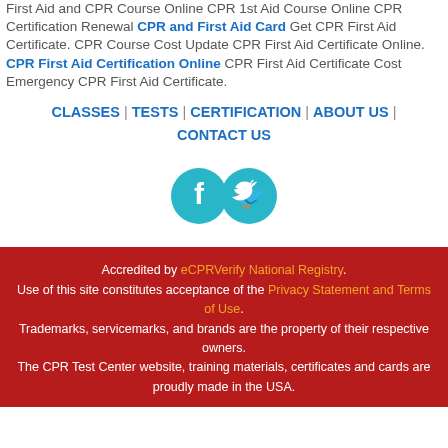First Aid and CPR Course Online CPR 1st Aid Course Online CPR Certification Renewal CPR and First Aid Card Get CPR First Aid Certificate. CPR Course Cost Update CPR First Aid Certificate Online. CPR First Aid Certification Online CPR First Aid Certificate Cost Emergency CPR First Aid Certificate.
CLASSES | TESTS | CERTIFICATION | ABOUT US | CONTACT US
[Figure (illustration): Facebook and Twitter social media icon circles in teal/cyan color]
Accredited by eCPRVerify National Registry. Use of this site constitutes acceptance of the Privacy Statement and Terms of Use. Trademarks, servicemarks, and brands are the property of their respective owners. The CPR Test Center website, training materials, certificates and cards are proudly made in the USA.